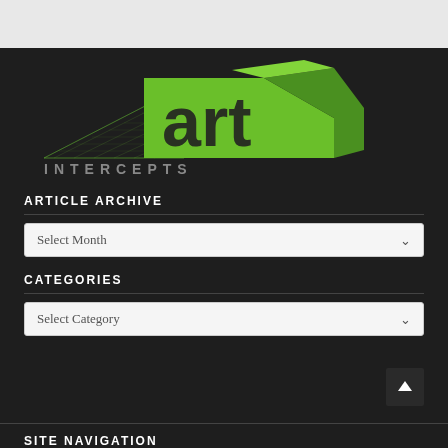[Figure (logo): Art Intercepts logo with green 3D geometric shapes and text 'art INTERCEPTS']
ARTICLE ARCHIVE
Select Month
CATEGORIES
Select Category
SITE NAVIGATION